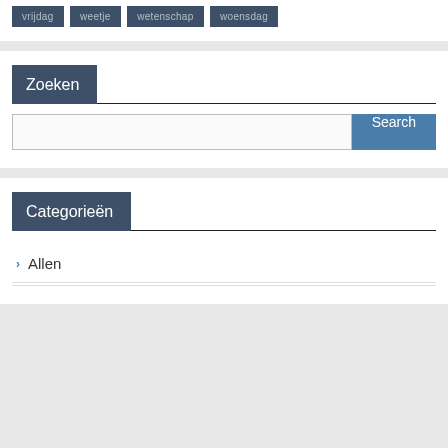vrijdag
weetje
wetenschap
woensdag
Zoeken
[Figure (screenshot): Search input field with Search button]
Categorieën
Allen